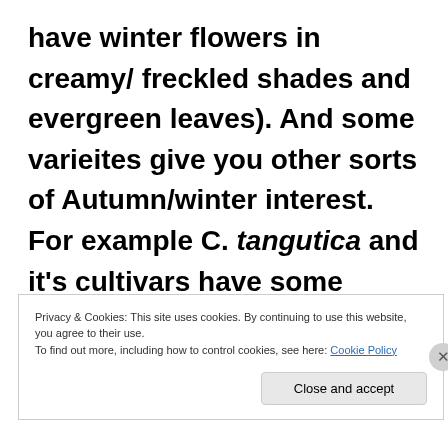have winter flowers in creamy/ freckled shades and evergreen leaves). And some varieites give you other sorts of Autumn/winter interest. For example C. tangutica and it's cultivars have some lovely 'hairy' seed heads that last into
Privacy & Cookies: This site uses cookies. By continuing to use this website, you agree to their use.
To find out more, including how to control cookies, see here: Cookie Policy